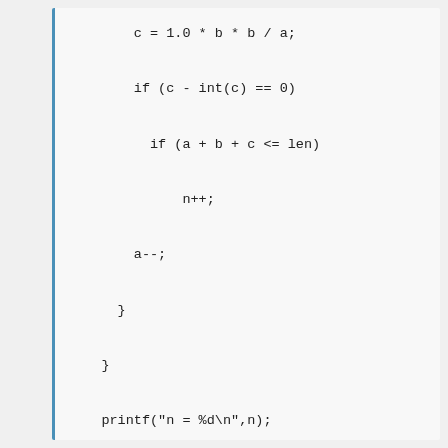c = 1.0 * b * b / a;

if (c - int(c) == 0)

  if (a + b + c <= len)

    n++;

  a--;

}

}

printf("n = %d\n",n);

system("pause");

return 0;

}

100000